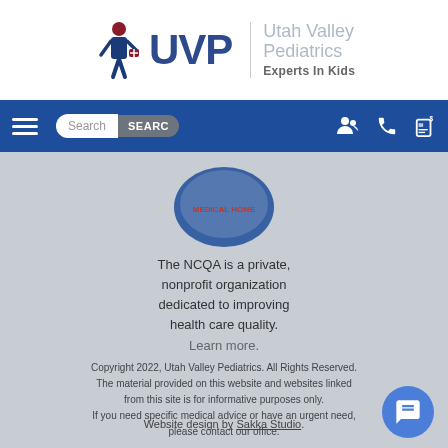[Figure (logo): Utah Valley Pediatrics logo with UVP text and stylized figure, tagline Experts In Kids]
[Figure (screenshot): Blue navigation bar with hamburger menu, search box, search button, and icons for account, phone, and payment]
[Figure (illustration): NCQA Medical Home seal/badge partially visible]
The NCQA is a private, nonprofit organization dedicated to improving health care quality. Learn more.
Copyright 2022, Utah Valley Pediatrics. All Rights Reserved. The material provided on this website and websites linked from this site is for informative purposes only. If you need specific medical advice or have an urgent need, please contact our office.
Website design by Sakka Studio.